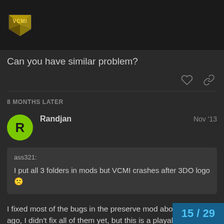VCMI logo header
Can you have similar problem?
8 MONTHS LATER
Randjan  Nov '13
ass321:
I put all 3 folders in mods but VCMI crashes after 3DO logo 🙁
I fixed most of the bugs in the preserve mod about 2 months ago, I didn't fix all of them yet, but this is a playable version, if VCMI crashes because of the preserve mo
dropbox.com/s/arx5z2ggirc2x4g/Preserve
15 / 29